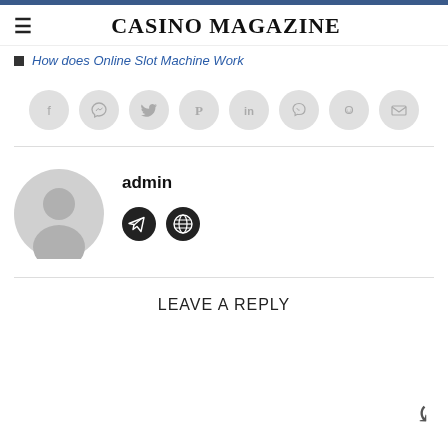CASINO MAGAZINE
How does Online Slot Machine Work
[Figure (infographic): Row of 8 social sharing icon buttons (Facebook, Messenger, Twitter, Pinterest, LinkedIn, Viber, Reddit, Email) as light gray circles]
[Figure (infographic): Author avatar - gray silhouette person circle, admin name, Telegram and globe icons]
LEAVE A REPLY